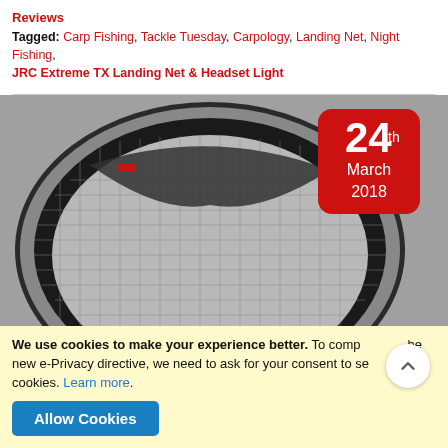Reviews
Tagged: Carp Fishing, Tackle Tuesday, Carpology, Landing Net, Night Fishing, JRC Extreme TX Landing Net & Headset Light
[Figure (photo): Top-down view of a circular fishing landing net with black mesh, dark frame with grey trim, and a red date badge showing '24th March 2018' in the top-right corner.]
We use cookies to make your experience better. To comply with the new e-Privacy directive, we need to ask for your consent to set cookies. Learn more.
Allow Cookies